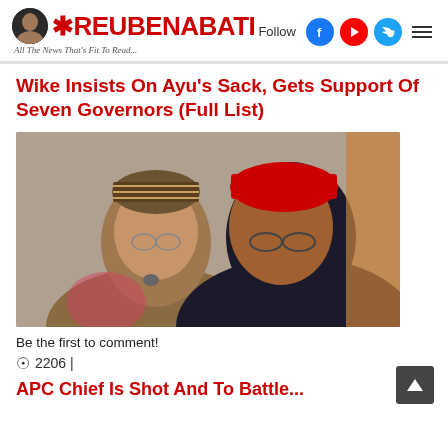ReubenAbati — All The News That's Fit To Read...
Wike Insists On Ayu's Sack, Gets Support Of Seven Governors (Full List)
[Figure (photo): Two men facing each other in close conversation. The man on the left wears a traditional patterned cap and glasses; the man on the right wears a red cap and glasses, dressed in dark clothing.]
Be the first to comment!
👁 2206 |
APC Chief Is Shot And To Battle...